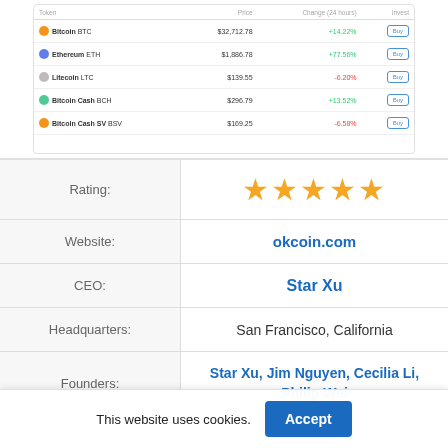[Figure (screenshot): Screenshot of a cryptocurrency exchange table showing Bitcoin (BTC) at $32,712.78 +14.22%, Ethereum (ETH) at $1,886.78 +77.56%, Litecoin (LTC) at $139.55 -6.20%, Bitcoin Cash (BCH) at $296.79 +13.52%, Bitcoin Cash SV (BSV) at $169.25 -6.58%, each with a Buy button]
|  | Rating: | Website: | CEO: | Headquarters: | Founders: |
| --- | --- | --- | --- | --- | --- |
|  | ★★★★★ | okcoin.com | Star Xu | San Francisco, California | Star Xu, Jim Nguyen, Cecilia Li, Philip Wei |
This website uses cookies.